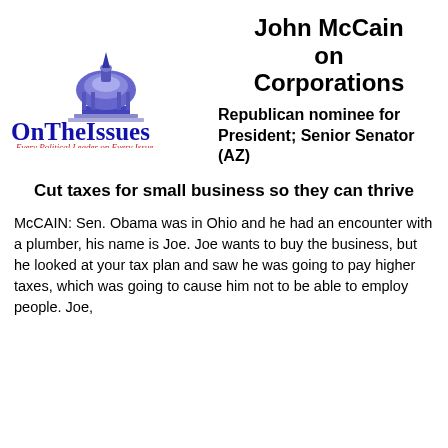[Figure (logo): OnTheIssues logo: blue dome/capitol icon above text 'OnTheIssues' in large blue serif font, with red italic tagline 'Every Political Leader on Every Issue']
John McCain on Corporations
Republican nominee for President; Senior Senator (AZ)
Cut taxes for small business so they can thrive
McCAIN: Sen. Obama was in Ohio and he had an encounter with a plumber, his name is Joe. Joe wants to buy the business, but he looked at your tax plan and saw he was going to pay higher taxes, which was going to cause him not to be able to employ people. Joe,